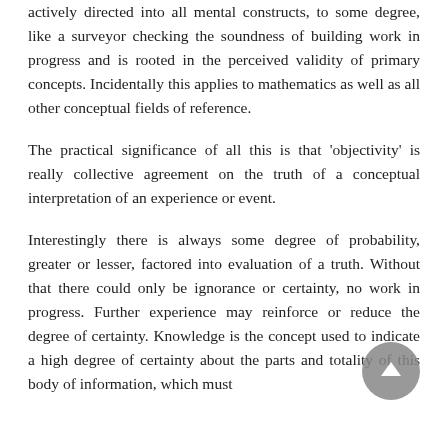actively directed into all mental constructs, to some degree, like a surveyor checking the soundness of building work in progress and is rooted in the perceived validity of primary concepts. Incidentally this applies to mathematics as well as all other conceptual fields of reference.
The practical significance of all this is that 'objectivity' is really collective agreement on the truth of a conceptual interpretation of an experience or event.
Interestingly there is always some degree of probability, greater or lesser, factored into evaluation of a truth. Without that there could only be ignorance or certainty, no work in progress. Further experience may reinforce or reduce the degree of certainty. Knowledge is the concept used to indicate a high degree of certainty about the parts and totality of this body of information, which must